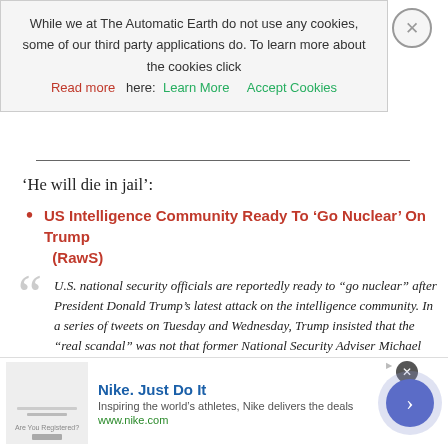While we at The Automatic Earth do not use any cookies, some of our third party applications do. To learn more about the cookies click Read more here: Learn More   Accept Cookies
‘He will die in jail’:
US Intelligence Community Ready To ‘Go Nuclear’ On Trump (RawS)
U.S. national security officials are reportedly ready to “go nuclear” after President Donald Trump’s latest attack on the intelligence community. In a series of tweets on Tuesday and Wednesday, Trump insisted that the “real scandal” was not that former National Security Adviser Michael Flynn lied about his contact with Russia. Instead, the president blasted what he said were “un-American” leaks that led to Flynn’s ousting.On Wednesday, former NSA intelligence analyst John Schindler provided some insight into the reaction of national security…
[Figure (infographic): Nike advertisement banner: Nike. Just Do It. Inspiring the world's athletes, Nike delivers the deals. www.nike.com]